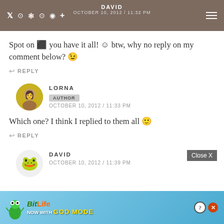DAVID | social icons | OCTOBER 10, 2012 / 11:32 PM
Spot on 👊 you have it all! ☺ btw, why no reply on my comment below? 😉
REPLY
LORNA
AUTHOR
OCTOBER 10, 2012 / 11:33 PM
Which one? I think I replied to them all 🙂
REPLY
DAVID
OCTOBER 10, 2012 / 11:39 PM
[Figure (screenshot): BitLife ad banner: NOW WITH GOD MODE]